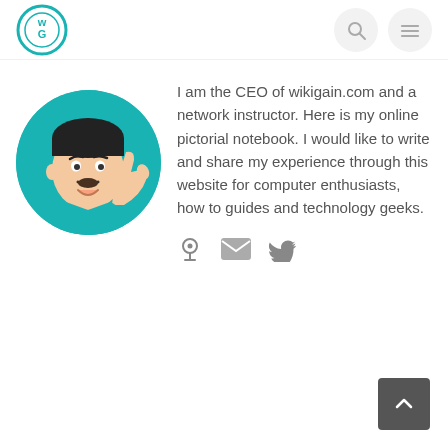wikigain.com logo and navigation icons
[Figure (photo): Circular avatar of an animated/memoji character with thumbs up on teal background]
I am the CEO of wikigain.com and a network instructor. Here is my online pictorial notebook. I would like to write and share my experience through this website for computer enthusiasts, how to guides and technology geeks.
[Figure (infographic): Social media icons: globe/location pin, envelope/email, and Twitter bird icon]